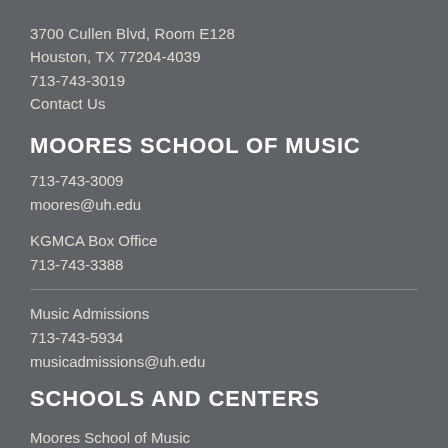3700 Cullen Blvd, Room E128
Houston, TX 77204-4039
713-743-3019
Contact Us
MOORES SCHOOL OF MUSIC
713-743-3009
moores@uh.edu
KGMCA Box Office
713-743-3388
Music Admissions
713-743-5934
musicadmissions@uh.edu
SCHOOLS AND CENTERS
Moores School of Music